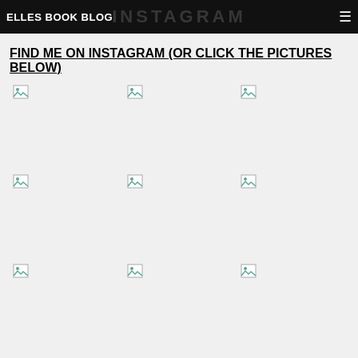ELLES BOOK BLOG INSTAGRAM
FIND ME ON INSTAGRAM (OR CLICK THE PICTURES BELOW)
[Figure (photo): Broken image placeholder 1 (top-left)]
[Figure (photo): Broken image placeholder 2 (top-center)]
[Figure (photo): Broken image placeholder 3 (top-right)]
[Figure (photo): Broken image placeholder 4 (middle-left)]
[Figure (photo): Broken image placeholder 5 (middle-center)]
[Figure (photo): Broken image placeholder 6 (middle-right)]
[Figure (photo): Broken image placeholder 7 (bottom-left)]
[Figure (photo): Broken image placeholder 8 (bottom-center)]
[Figure (photo): Broken image placeholder 9 (bottom-right)]